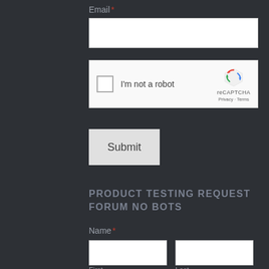Email *
[Figure (screenshot): Empty email text input field, white rectangle]
[Figure (screenshot): reCAPTCHA widget with checkbox labeled I'm not a robot, reCAPTCHA logo, Privacy and Terms links]
Submit
PRODUCT TESTING REQUEST FORUM NO BOTS
Name *
[Figure (screenshot): Two empty text input fields for First and Last name]